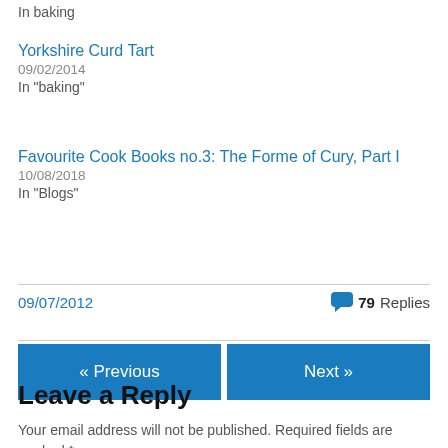In  baking
Yorkshire Curd Tart
09/02/2014
In "baking"
Favourite Cook Books no.3: The Forme of Cury, Part I
10/08/2018
In "Blogs"
09/07/2012   79 Replies
« Previous
Next »
Leave a Reply
Your email address will not be published. Required fields are marked *